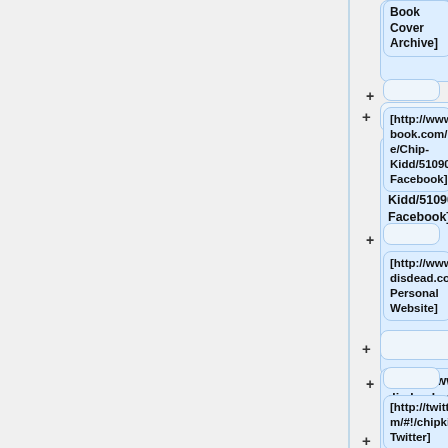Book Cover Archive]
+
[http://www.facebook.com/people/Chip-Kidd/510901969 Facebook]
+
[http://www.goodisdead.com/ Personal Website]
+
[http://twitter.com/#!/chipkidd Twitter]
+